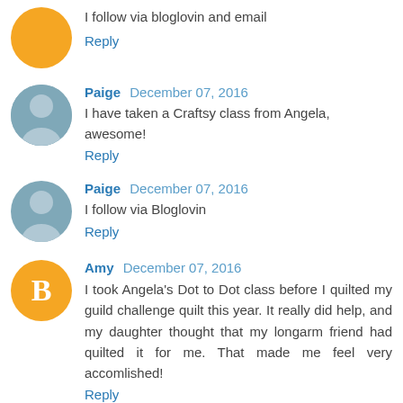I follow via bloglovin and email
Reply
Paige  December 07, 2016
I have taken a Craftsy class from Angela, awesome!
Reply
Paige  December 07, 2016
I follow via Bloglovin
Reply
Amy  December 07, 2016
I took Angela's Dot to Dot class before I quilted my guild challenge quilt this year. It really did help, and my daughter thought that my longarm friend had quilted it for me. That made me feel very accomlished!
Reply